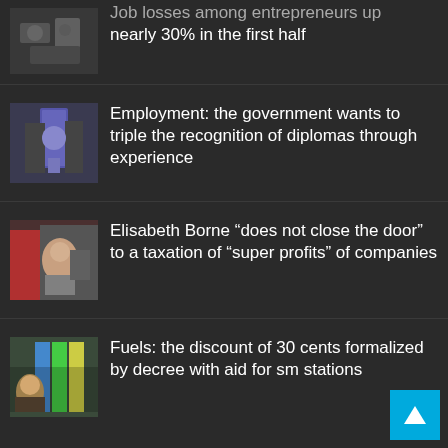Job losses among entrepreneurs up nearly 30% in the first half
Employment: the government wants to triple the recognition of diplomas through experience
Elisabeth Borne “does not close the door” to a taxation of “super profits” of companies
Fuels: the discount of 30 cents formalized by decree with aid for sm stations